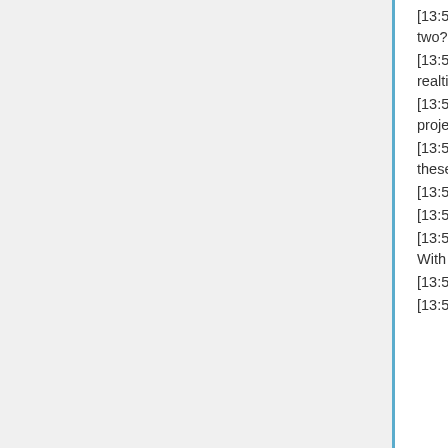[13:56] <@mattie_p> stderr which proposal needs to be split in two?
[13:56] <+kobach> " IRC for realtime discussion, forum for non-realtime, wiki for publishing results."
[13:56] <+stderr> <mattie_p> stderr: to communicate about group projects, both internal initiatives and larger proposals
[13:56] <@xlefay> I suggest something on which we can vote for these sorta things... ;')
[13:57] <@mrcoolbp> no votes for slash eh?
[13:57] <@NCommander> we need a meeting script
[13:57] <@martyb> kobach: Yes, for now I can get behind that. With crossposting to soytlentnes.org periodically
[13:57] <@mrcoolbp> VOTE SLASH
[13:57] <@xlefay> mrcoolbp: NO.